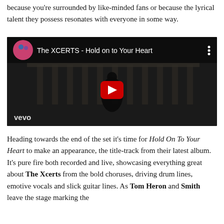because you're surrounded by like-minded fans or because the lyrical talent they possess resonates with everyone in some way.
[Figure (screenshot): YouTube video embed showing 'The XCERTS - Hold on to Your Heart' with a dark video thumbnail featuring a person on a stage, a red play button in the center, and the Vevo watermark in the bottom left.]
Heading towards the end of the set it's time for Hold On To Your Heart to make an appearance, the title-track from their latest album. It's pure fire both recorded and live, showcasing everything great about The Xcerts from the bold choruses, driving drum lines, emotive vocals and slick guitar lines. As Tom Heron and Smith leave the stage marking the